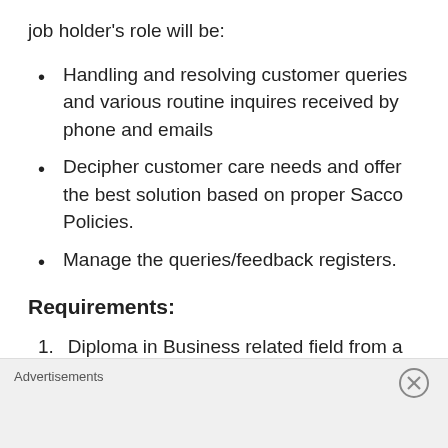job holder's role will be:
Handling and resolving customer queries and various routine inquires received by phone and emails
Decipher customer care needs and offer the best solution based on proper Sacco Policies.
Manage the queries/feedback registers.
Requirements:
Diploma in Business related field from a
Advertisements